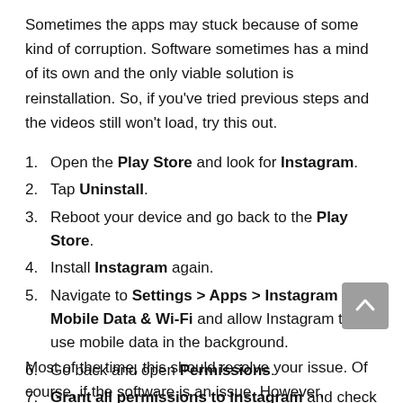Sometimes the apps may stuck because of some kind of corruption. Software sometimes has a mind of its own and the only viable solution is reinstallation. So, if you’ve tried previous steps and the videos still won’t load, try this out.
1. Open the Play Store and look for Instagram.
2. Tap Uninstall.
3. Reboot your device and go back to the Play Store.
4. Install Instagram again.
5. Navigate to Settings > Apps > Instagram > Mobile Data & Wi-Fi and allow Instagram to use mobile data in the background.
6. Go back and open Permissions.
7. Grant all permissions to Instagram and check for improvements.
Most of the time, this should resolve your issue. Of course, if the software is an issue. However, sometimes